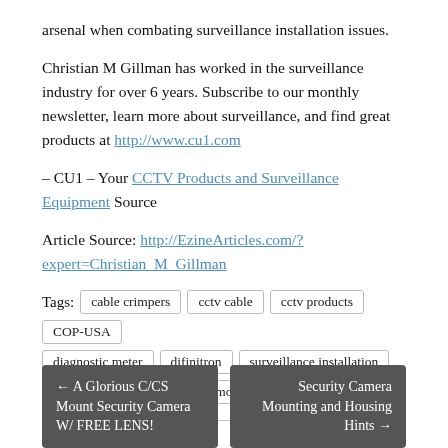arsenal when combating surveillance installation issues.
Christian M Gillman has worked in the surveillance industry for over 6 years. Subscribe to our monthly newsletter, learn more about surveillance, and find great products at http://www.cu1.com
– CU1 – Your CCTV Products and Surveillance Equipment Source
Article Source: http://EzineArticles.com/?expert=Christian_M_Gillman
Tags: cable crimpers  cctv cable  cctv products  COP-USA  diagnostic meter  difinitron  surveillance installation  surveillance installer  test monitor  VM-417
← A Glorious C/CS Mount Security Camera W/ FREE LENS!
Security Camera Mounting and Housing Hints →